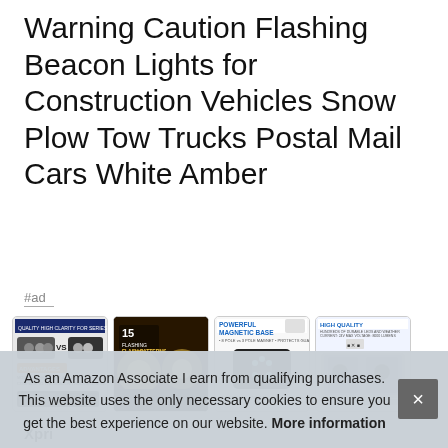Warning Caution Flashing Beacon Lights for Construction Vehicles Snow Plow Tow Trucks Postal Mail Cars White Amber
#ad
[Figure (photo): Four product images of warning beacon lights in a horizontal row]
Xpri... cha... patt...
As an Amazon Associate I earn from qualifying purchases. This website uses the only necessary cookies to ensure you get the best experience on our website. More information